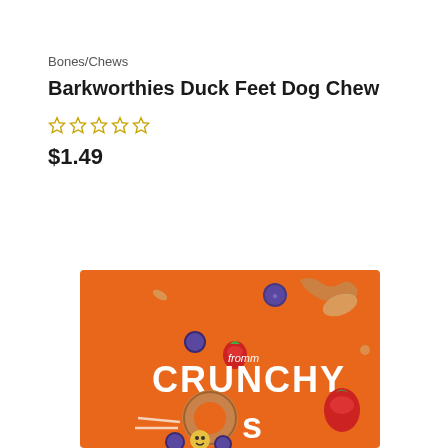Bones/Chews
Barkworthies Duck Feet Dog Chew
★★★★★ (0 ratings)
$1.49
Add to cart
[Figure (photo): Orange product bag for 'fromm CRUNCHY Os' dog treats, with blueberries, strawberries, and treats floating around the bag on an orange background.]